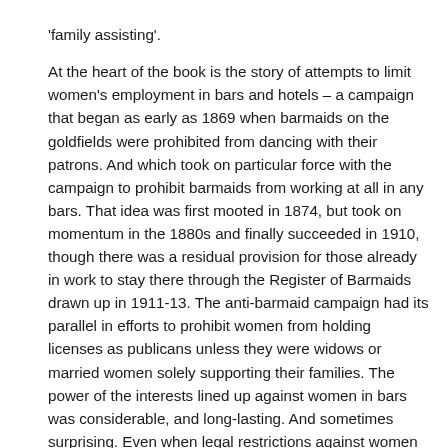'family assisting'.

At the heart of the book is the story of attempts to limit women's employment in bars and hotels – a campaign that began as early as 1869 when barmaids on the goldfields were prohibited from dancing with their patrons. And which took on particular force with the campaign to prohibit barmaids from working at all in any bars. That idea was first mooted in 1874, but took on momentum in the 1880s and finally succeeded in 1910, though there was a residual provision for those already in work to stay there through the Register of Barmaids drawn up in 1911-13. The anti-barmaid campaign had its parallel in efforts to prohibit women from holding licenses as publicans unless they were widows or married women solely supporting their families. The power of the interests lined up against women in bars was considerable, and long-lasting. And sometimes surprising. Even when legal restrictions against women working as barmaids were lifted, in 1961, there remained efforts to keep them out. Instead of worker solidarity, the hotel-workers' union, with the support of FOL leader F.P.Walsh, was determined to keep the